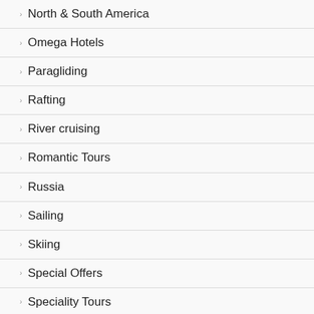North & South America
Omega Hotels
Paragliding
Rafting
River cruising
Romantic Tours
Russia
Sailing
Skiing
Special Offers
Speciality Tours